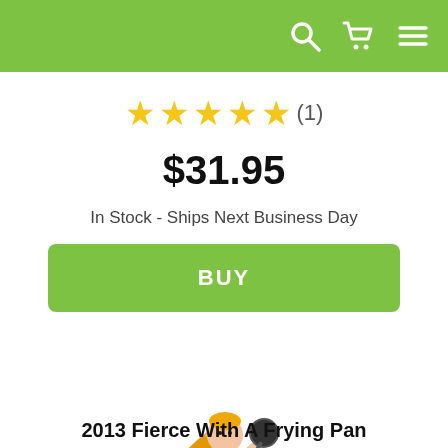[Figure (screenshot): Green navigation header bar with search, cart, and menu icons on the right]
[Figure (other): 5 yellow star rating with (1) review count]
$31.95
In Stock - Ships Next Business Day
[Figure (other): Green BUY button]
[Figure (photo): Rapunzel figurine with long golden hair holding a frying pan, wearing a purple dress]
2013 Fierce With A Frying Pan